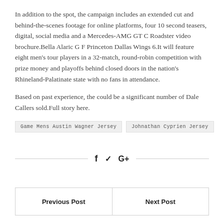In addition to the spot, the campaign includes an extended cut and behind-the-scenes footage for online platforms, four 10 second teasers, digital, social media and a Mercedes-AMG GT C Roadster video brochure.Bella Alaric G F Princeton Dallas Wings 6.It will feature eight men's tour players in a 32-match, round-robin competition with prize money and playoffs behind closed doors in the nation's Rhineland-Palatinate state with no fans in attendance.
Based on past experience, the could be a significant number of Dale Callers sold.Full story here.
Game Mens Austin Wagner Jersey
Johnathan Cyprien Jersey
f  ✓  G+
Previous Post   Next Post